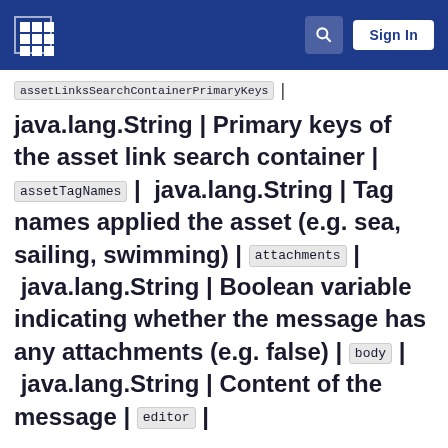Sign In
assetLinksSearchContainerPrimaryKeys | java.lang.String | Primary keys of the asset link search container | assetTagNames | java.lang.String | Tag names applied the asset (e.g. sea, sailing, swimming) | attachments | java.lang.String | Boolean variable indicating whether the message has any attachments (e.g. false) | body | java.lang.String | Content of the message | editor |